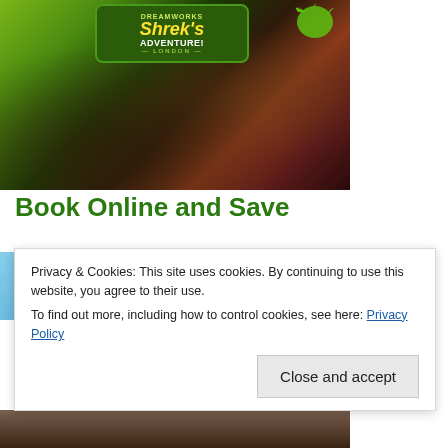[Figure (photo): Shrek's Adventure London promotional image showing Shrek characters with children, with the Shrek's Adventure London logo overlay]
Book Online and Save
[Figure (photo): Blue sky panoramic image with text 'REDISCOVER THE FEELING AT EVERY TURN']
Privacy & Cookies: This site uses cookies. By continuing to use this website, you agree to their use.
To find out more, including how to control cookies, see here: Privacy Policy
Close and accept
[Figure (photo): Bottom partial image showing outdoor attraction scenery]